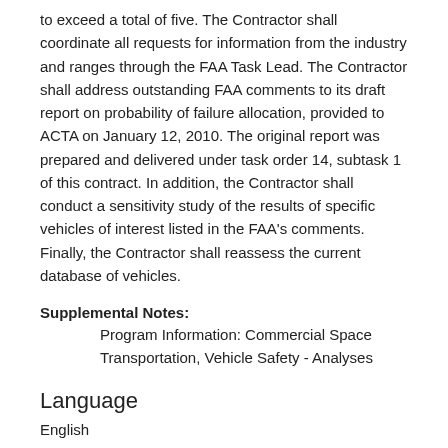to exceed a total of five. The Contractor shall coordinate all requests for information from the industry and ranges through the FAA Task Lead. The Contractor shall address outstanding FAA comments to its draft report on probability of failure allocation, provided to ACTA on January 12, 2010. The original report was prepared and delivered under task order 14, subtask 1 of this contract. In addition, the Contractor shall conduct a sensitivity study of the results of specific vehicles of interest listed in the FAA's comments. Finally, the Contractor shall reassess the current database of vehicles.
Supplemental Notes: Program Information: Commercial Space Transportation, Vehicle Safety - Analyses
Language
English
Project
Status: Active
Funding: $35000.00